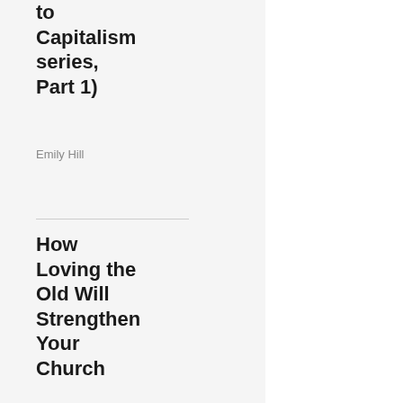to Capitalism series, Part 1)
Emily Hill
How Loving the Old Will Strengthen Your Church
Isabel Tom
Humility: A Missing Ingredient
Dennis R. Edwards